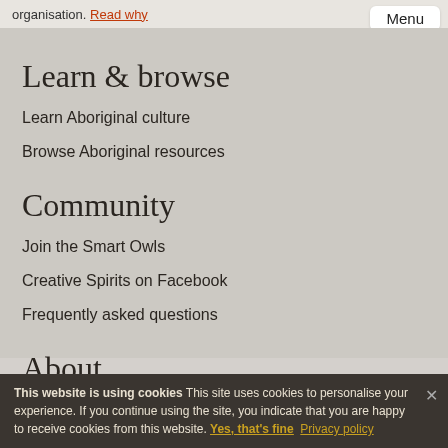organisation. Read why
Learn & browse
Learn Aboriginal culture
Browse Aboriginal resources
Community
Join the Smart Owls
Creative Spirits on Facebook
Frequently asked questions
About
This website is using cookies This site uses cookies to personalise your experience. If you continue using the site, you indicate that you are happy to receive cookies from this website. Yes, that's fine Privacy policy